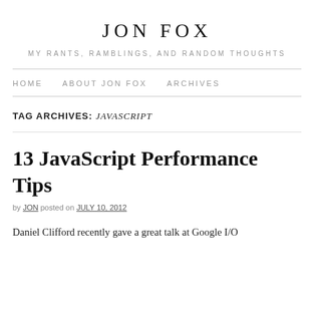JON FOX
MY RANTS, RAMBLINGS, AND RANDOM THOUGHTS
HOME   ABOUT JON FOX   ARCHIVES
TAG ARCHIVES: JAVASCRIPT
13 JavaScript Performance Tips
by JON posted on JULY 10, 2012
Daniel Clifford recently gave a great talk at Google I/O